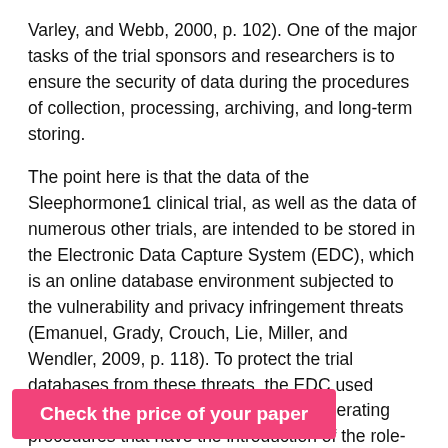Varley, and Webb, 2000, p. 102). One of the major tasks of the trial sponsors and researchers is to ensure the security of data during the procedures of collection, processing, archiving, and long-term storing.
The point here is that the data of the Sleephormone1 clinical trial, as well as the data of numerous other trials, are intended to be stored in the Electronic Data Capture System (EDC), which is an online database environment subjected to the vulnerability and privacy infringement threats (Emanuel, Grady, Crouch, Lie, Miller, and Wendler, 2009, p. 118). To protect the trial databases from these threats, the EDC used should be supplied with the standard operating procedures that have the introduction of the role-based design for the database as one of their major conditions (DeRenzo … se of this database …
Check the price of your paper